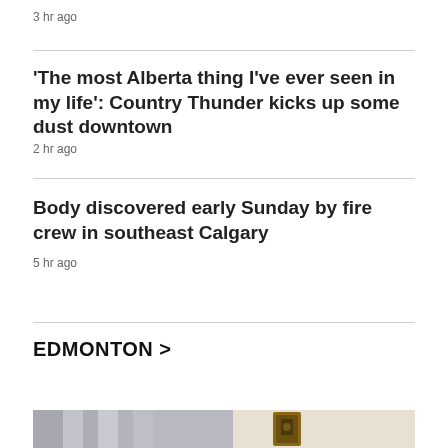3 hr ago
'The most Alberta thing I've ever seen in my life': Country Thunder kicks up some dust downtown
2 hr ago
Body discovered early Sunday by fire crew in southeast Calgary
5 hr ago
EDMONTON >
[Figure (photo): A partially visible indoor photo showing fabric or curtains on the left and a framed item on a wall on the right, blurred.]